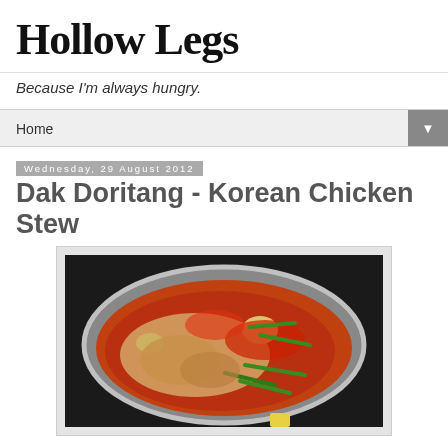Hollow Legs
Because I'm always hungry.
Home ▼
Wednesday, 29 August 2012
Dak Doritang - Korean Chicken Stew
[Figure (photo): A silver pot on a dark stovetop filled with Korean chicken stew (Dak Doritang), showing chicken pieces, potatoes, green beans, and red spicy sauce.]